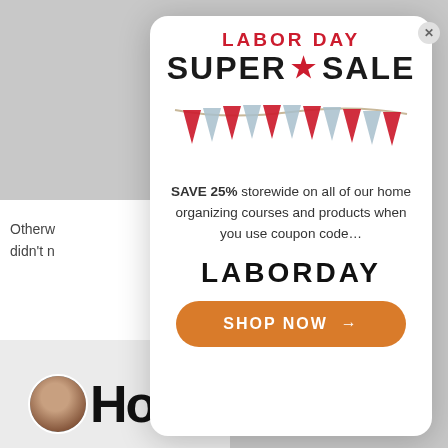Otherw... didn't n...
[Figure (screenshot): Labor Day Super Sale popup modal with bunting decoration, coupon code LABORDAY, and Shop Now button]
LABOR DAY SUPER ★ SALE
SAVE 25% storewide on all of our home organizing courses and products when you use coupon code...
LABORDAY
SHOP NOW →